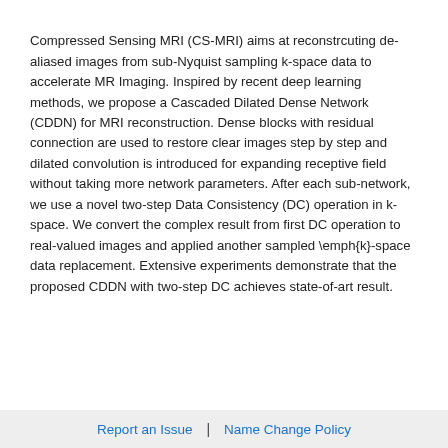Compressed Sensing MRI (CS-MRI) aims at reconstrcuting de-aliased images from sub-Nyquist sampling k-space data to accelerate MR Imaging. Inspired by recent deep learning methods, we propose a Cascaded Dilated Dense Network (CDDN) for MRI reconstruction. Dense blocks with residual connection are used to restore clear images step by step and dilated convolution is introduced for expanding receptive field without taking more network parameters. After each sub-network, we use a novel two-step Data Consistency (DC) operation in k-space. We convert the complex result from first DC operation to real-valued images and applied another sampled \emph{k}-space data replacement. Extensive experiments demonstrate that the proposed CDDN with two-step DC achieves state-of-art result.
Report an Issue  |  Name Change Policy